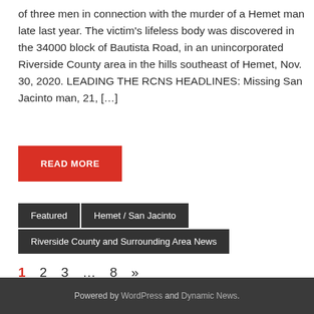of three men in connection with the murder of a Hemet man late last year. The victim's lifeless body was discovered in the 34000 block of Bautista Road, in an unincorporated Riverside County area in the hills southeast of Hemet, Nov. 30, 2020. LEADING THE RCNS HEADLINES: Missing San Jacinto man, 21, […]
READ MORE
Featured
Hemet / San Jacinto
Riverside County and Surrounding Area News
1  2  3  …  8  »
Powered by WordPress and Dynamic News.